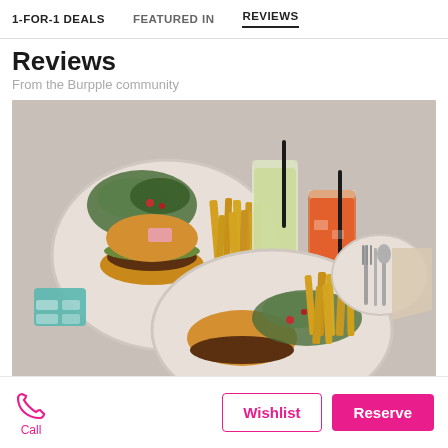1-FOR-1 DEALS | FEATURED IN | REVIEWS
Reviews
From the Burpple community
[Figure (photo): Overhead view of two plates with burgers and french fries, two drinks (a green smoothie and an orange drink), and a side plate with cutlery on a white table.]
Call
Wishlist
Reserve